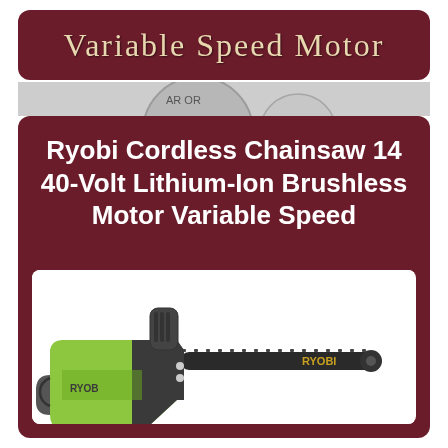Variable Speed Motor
[Figure (photo): Ryobi cordless chainsaw product photo showing a green and black 40V brushless chainsaw with battery and charger, eBay listing with 5-year warranty badge and 90-day policy badge]
Ryobi Cordless Chainsaw 14 40-Volt Lithium-Ion Brushless Motor Variable Speed